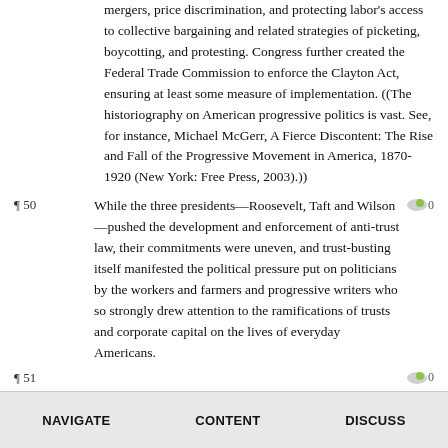mergers, price discrimination, and protecting labor's access to collective bargaining and related strategies of picketing, boycotting, and protesting. Congress further created the Federal Trade Commission to enforce the Clayton Act, ensuring at least some measure of implementation. ((The historiography on American progressive politics is vast. See, for instance, Michael McGerr, A Fierce Discontent: The Rise and Fall of the Progressive Movement in America, 1870-1920 (New York: Free Press, 2003).))
¶50  While the three presidents—Roosevelt, Taft and Wilson—pushed the development and enforcement of anti-trust law, their commitments were uneven, and trust-busting itself manifested the political pressure put on politicians by the workers and farmers and progressive writers who so strongly drew attention to the ramifications of trusts and corporate capital on the lives of everyday Americans.
¶51
V. PROGRESSIVE ENVIRONMENTALISM
NAVIGATE   CONTENT   DISCUSS